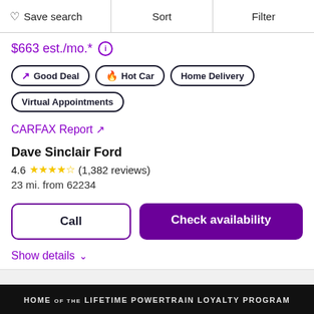Save search | Sort | Filter
$663 est./mo.* ⓘ
↗ Good Deal
🔥 Hot Car
Home Delivery
Virtual Appointments
CARFAX Report ↗
Dave Sinclair Ford
4.6 ★★★★½ (1,382 reviews)
23 mi. from 62234
Call | Check availability
Show details ∨
[Figure (screenshot): Dark banner reading HOME OF THE LIFETIME POWERTRAIN LOYALTY PROGRAM]